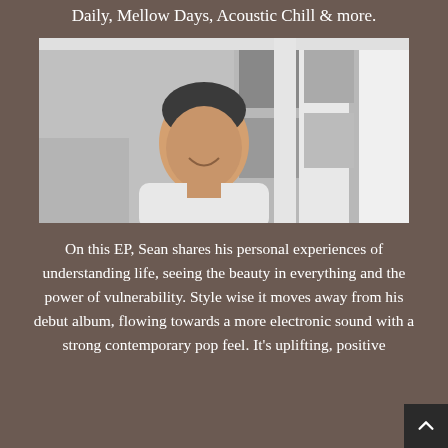Daily, Mellow Days, Acoustic Chill & more.
[Figure (photo): Black and white photo of a young man smiling, leaning out of or near a car window, wearing a white shirt.]
On this EP, Sean shares his personal experiences of understanding life, seeing the beauty in everything and the power of vulnerability. Style wise it moves away from his debut album, flowing towards a more electronic sound with a strong contemporary pop feel. It's uplifting, positive